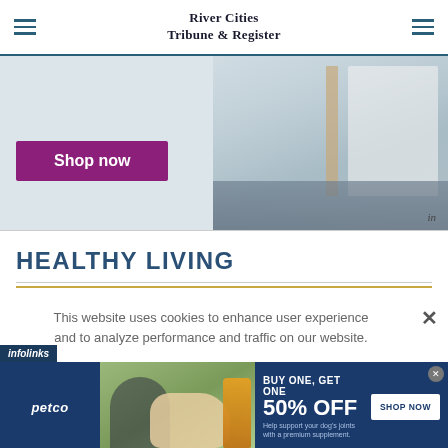River Cities Tribune & Register
[Figure (photo): Advertisement banner showing a closet/shelving unit with a purple 'Shop now' button and an 'in' label at the bottom right]
HEALTHY LIVING
This website uses cookies to enhance user experience and to analyze performance and traffic on our website.
[Figure (infographic): Petco advertisement: BUY ONE, GET ONE 50% OFF - Help support your dog's joints with a premium supplement. SHOP NOW button. Shows a woman with a Labrador dog and a supplement bottle.]